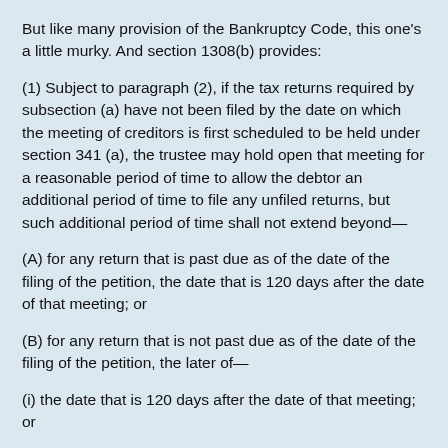But like many provision of the Bankruptcy Code, this one's a little murky. And section 1308(b) provides:
(1) Subject to paragraph (2), if the tax returns required by subsection (a) have not been filed by the date on which the meeting of creditors is first scheduled to be held under section 341 (a), the trustee may hold open that meeting for a reasonable period of time to allow the debtor an additional period of time to file any unfiled returns, but such additional period of time shall not extend beyond—
(A) for any return that is past due as of the date of the filing of the petition, the date that is 120 days after the date of that meeting; or
(B) for any return that is not past due as of the date of the filing of the petition, the later of—
(i) the date that is 120 days after the date of that meeting; or